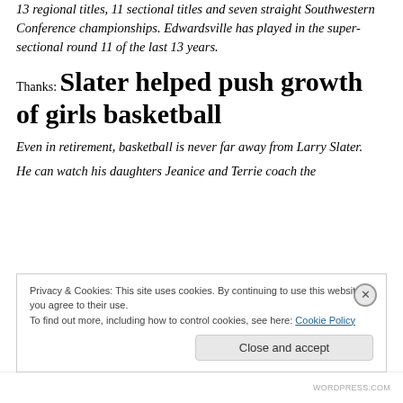13 regional titles, 11 sectional titles and seven straight Southwestern Conference championships. Edwardsville has played in the super-sectional round 11 of the last 13 years.
Thanks: Slater helped push growth of girls basketball
Even in retirement, basketball is never far away from Larry Slater.
He can watch his daughters Jeanice and Terrie coach the
Privacy & Cookies: This site uses cookies. By continuing to use this website, you agree to their use.
To find out more, including how to control cookies, see here: Cookie Policy
Close and accept
WORDPRESS.COM